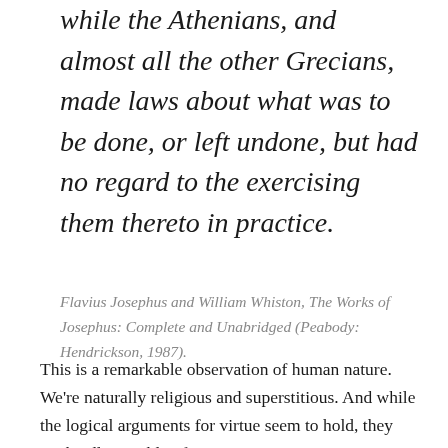while the Athenians, and almost all the other Grecians, made laws about what was to be done, or left undone, but had no regard to the exercising them thereto in practice.
Flavius Josephus and William Whiston, The Works of Josephus: Complete and Unabridged (Peabody: Hendrickson, 1987).
This is a remarkable observation of human nature. We're naturally religious and superstitious. And while the logical arguments for virtue seem to hold, they are hardly capable of overcoming our superstitious desire to base our lives on our